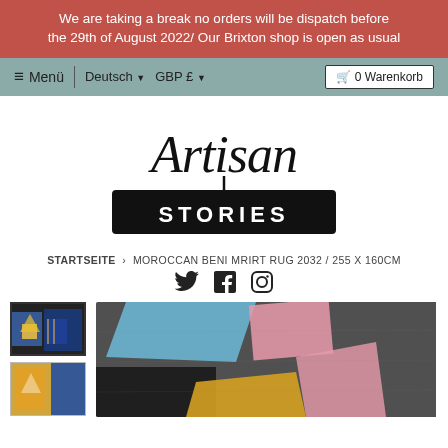We are taking a break no orders will be dispatch before the 29th of August 2022/ Our Brixton shop is open as usual
≡ Menü | Deutsch ▼ GBP £ ▼  🛒 0 Warenkorb
[Figure (logo): Artisan Stories logo — handwritten script 'Artisan' above a black rounded rectangle containing 'STORIES' in white bold capitals]
STARTSEITE › MOROCCAN BENI MRIRT RUG 2032 / 255 X 160CM
[Figure (infographic): Social media icons: Twitter bird, Facebook F, Instagram camera]
[Figure (photo): Thumbnail image of a Moroccan Beni Mrirt rug with blue and yellow geometric pattern — selected/active thumbnail]
[Figure (photo): Second thumbnail image of the same rug with gold and blue pattern]
[Figure (photo): Main product image: close-up of a Moroccan Beni Mrirt rug with blue, pink and grey geometric shapes on dark background]